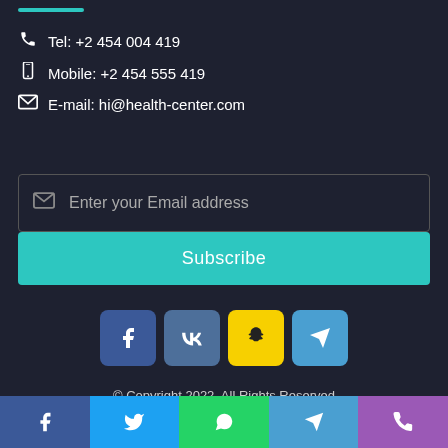Tel: +2 454 004 419
Mobile: +2 454 555 419
E-mail: hi@health-center.com
Enter your Email address
Subscribe
[Figure (other): Social media icon buttons: Facebook, VK, Snapchat, Telegram]
© Copyright 2022, All Rights Reserved
For emergency cases ⚠ +2-700-600-5100
[Figure (other): Bottom bar with social media buttons: Facebook, Twitter, WhatsApp, Telegram, Phone]